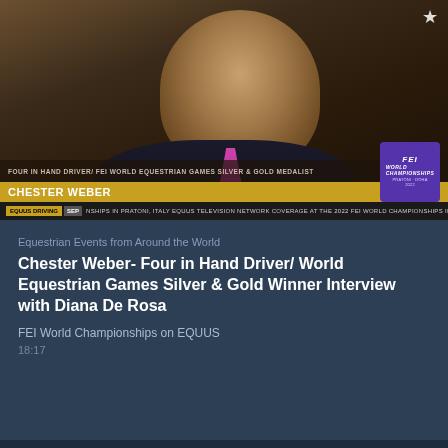[Figure (photo): Video thumbnail showing Chester Weber, a man in a dark suit with a pink tie, smiling. Lower-third graphic overlay reads 'FOUR IN HAND DRIVER/ FEI WORLD EQUESTRIAN GAMES SILVER & GOLD MEDALIST' and 'CHESTER WEBER' on a gold band, with an EQUUS Driving ticker below and an FEI World Championships purple logo badge in the lower right.]
Equestrian Events from Around the World
Chester Weber- Four in Hand Driver/ World Equestrian Games Silver & Gold Winner Interview with Diana De Rosa
FEI World Championships on EQUUS
18:17